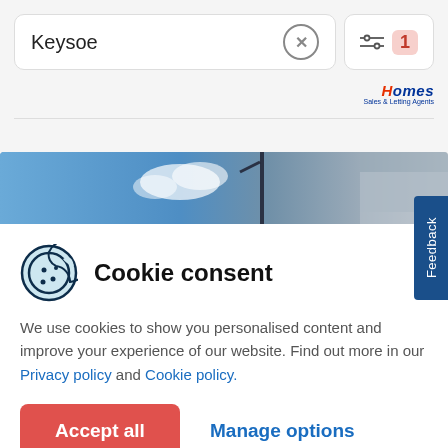[Figure (screenshot): Search bar with 'Keysoe' text input, clear button (×), and a filter button with badge showing 1 active filter]
[Figure (logo): Homes Sales & Letting Agents logo in blue and red italic text]
[Figure (photo): Property listing image strip showing blue sky and building rooftop]
[Figure (screenshot): Feedback vertical tab on right edge, dark blue background with white rotated text 'Feedback']
Cookie consent
We use cookies to show you personalised content and improve your experience of our website. Find out more in our Privacy policy and Cookie policy.
Accept all
Manage options